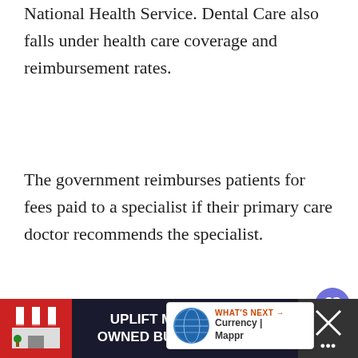National Health Service. Dental Care also falls under health care coverage and reimbursement rates.
The government reimburses patients for fees paid to a specialist if their primary care doctor recommends the specialist.
9. Switzerland
A combination of government subsidies, compulsory health insurance, and contributions from non-governmental sources make up the
[Figure (screenshot): WHAT'S NEXT arrow banner with globe icon showing 'Currency | Mappr']
[Figure (screenshot): Advertisement bar: UPLIFT MINORITY OWNED BUSINESSES with close button and other UI elements]